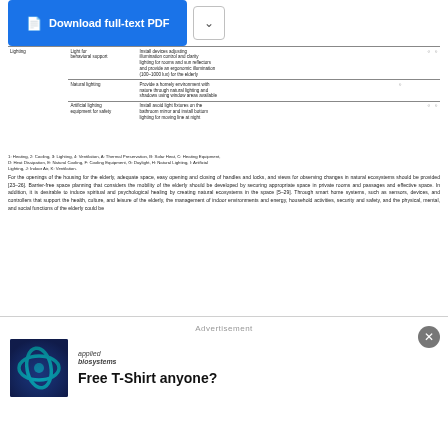|  | Sub-category | Description | A | B | C | D | E | F | G | H | I | J | K |
| --- | --- | --- | --- | --- | --- | --- | --- | --- | --- | --- | --- | --- | --- |
| Lighting | Light for behavioral support | Install devices adjusting illumination control and clarity lighting for rooms and sun reflectors and provide an ergonomic illumination (100–1000 lux) for the elderly |  |  |  |  |  |  |  |  |  |  |  |
|  | Natural lighting | Provide a homely environment with nature through natural lighting and shadows using window areas available |  |  |  |  |  |  |  |  |  |  |  |
|  | Artificial lighting equipment for safety | Install avoid light fixtures on the bathroom mirror and install bottom lighting for moving line at night |  |  |  |  |  |  |  |  |  |  |  |
1: Heating, 2: Cooling, 3: Lighting, 4: Ventilation, A: Thermal Preservation, B: Solar Heat, C: Heating Equipment, D: Heat Dissipation, E: Natural Cooling, F: Cooling Equipment, G: Daylight, H: Natural Lighting, I: Artificial Lighting, J: Indoor Air, K: Ventilation.
For the openings of the housing for the elderly, adequate space, easy opening and closing of handles and locks, and views for observing changes in natural ecosystems should be provided [23–26]. Barrier-free space planning that considers the mobility of the elderly should be developed by securing appropriate space in private rooms and passages and effective space. In addition, it is desirable to induce spiritual and psychological healing by creating natural ecosystems in the space [5–29]. Through smart home systems, such as sensors, devices, and controllers that support the health, culture, and leisure of the elderly, the management of indoor environments and energy, household activities, security and safety, and the physical, mental, and social functions of the elderly could be
Advertisement
[Figure (illustration): Applied Biosystems logo and advertisement with infinity symbol on blue background]
Free T-Shirt anyone?